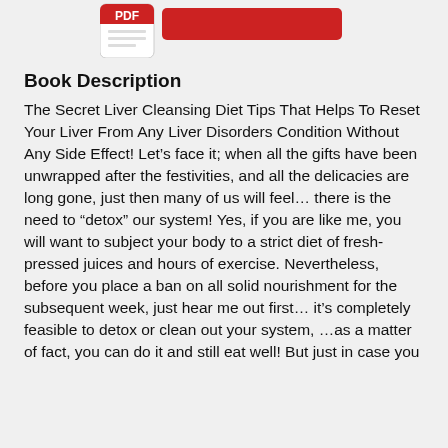[Figure (other): PDF icon (red and white document icon) with a red button/bar partially visible at the top of the page]
Book Description
The Secret Liver Cleansing Diet Tips That Helps To Reset Your Liver From Any Liver Disorders Condition Without Any Side Effect! Let’s face it; when all the gifts have been unwrapped after the festivities, and all the delicacies are long gone, just then many of us will feel… there is the need to "detox" our system! Yes, if you are like me, you will want to subject your body to a strict diet of fresh-pressed juices and hours of exercise. Nevertheless, before you place a ban on all solid nourishment for the subsequent week, just hear me out first… it’s completely feasible to detox or clean out your system, …as a matter of fact, you can do it and still eat well! But just in case you